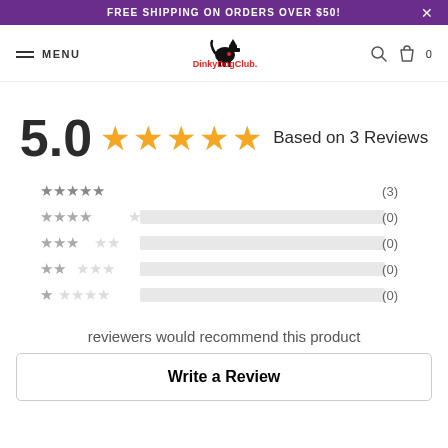FREE SHIPPING ON ORDERS OVER $50!
[Figure (logo): DinkyDogClub logo with scottie dog silhouette and text]
5.0  ★★★★★  Based on 3 Reviews
[Figure (bar-chart): Rating breakdown]
reviewers would recommend this product
Write a Review